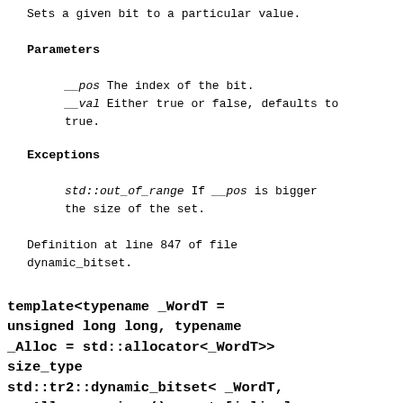Sets a given bit to a particular value.
Parameters
__pos The index of the bit.
__val Either true or false, defaults to true.
Exceptions
std::out_of_range If __pos is bigger the size of the set.
Definition at line 847 of file dynamic_bitset.
template<typename _WordT = unsigned long long, typename _Alloc = std::allocator<_WordT>> size_type std::tr2::dynamic_bitset< _WordT, _Alloc >::size () const [inline]